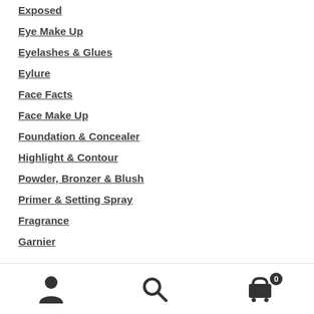Exposed
Eye Make Up
Eyelashes & Glues
Eylure
Face Facts
Face Make Up
Foundation & Concealer
Highlight & Contour
Powder, Bronzer & Blush
Primer & Setting Spray
Fragrance
Garnier
[Figure (other): Bottom navigation bar with user/account icon, search icon, and shopping cart icon with badge showing 0]